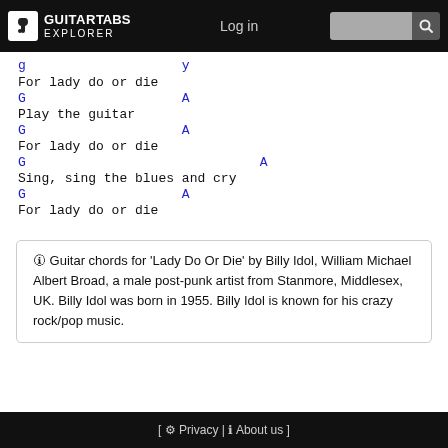GUITARTABS EXPLORER | Log in | Search
g                    y
For lady do or die
G                    A
Play the guitar
G                    A
For lady do or die
G                              A
Sing, sing the blues and cry
G                    A
For lady do or die
🛈 Guitar chords for 'Lady Do Or Die' by Billy Idol, William Michael Albert Broad, a male post-punk artist from Stanmore, Middlesex, UK. Billy Idol was born in 1955. Billy Idol is known for his crazy rock/pop music.
[ Privacy | About us ]